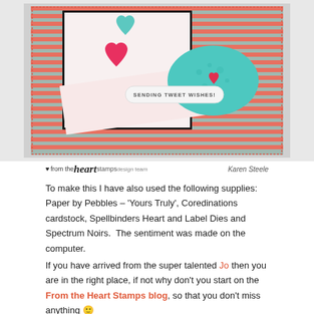[Figure (photo): A handmade Valentine's Day card featuring a striped red and teal patterned background with decorative hearts (teal and pink/red), sentiment bubble reading 'SENDING TWEET WISHES!' and a teal cloud/bubble shape with a red heart.]
♥ from the heart stamps design team   Karen Steele
To make this I have also used the following supplies: Paper by Pebbles – 'Yours Truly', Coredinations cardstock, Spellbinders Heart and Label Dies and Spectrum Noirs.  The sentiment was made on the computer.
If you have arrived from the super talented Jo then you are in the right place, if not why don't you start on the From the Heart Stamps blog, so that you don't miss anything 🙂